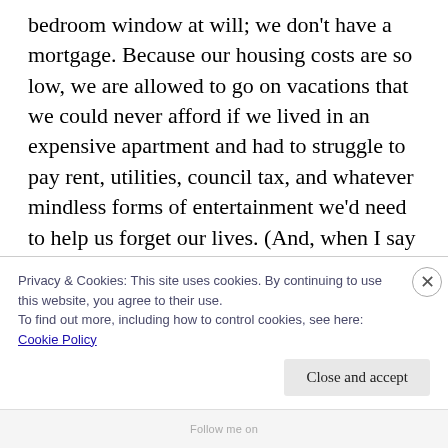bedroom window at will; we don't have a mortgage. Because our housing costs are so low, we are allowed to go on vacations that we could never afford if we lived in an expensive apartment and had to struggle to pay rent, utilities, council tax, and whatever mindless forms of entertainment we'd need to help us forget our lives. (And, when I say our costs are low, I mean that our yearly housing costs are the same or lower than the average monthly housing costs in the UK. That's pretty low.) We own our own home, we have no debt, and France is just a
Privacy & Cookies: This site uses cookies. By continuing to use this website, you agree to their use.
To find out more, including how to control cookies, see here: Cookie Policy
Close and accept